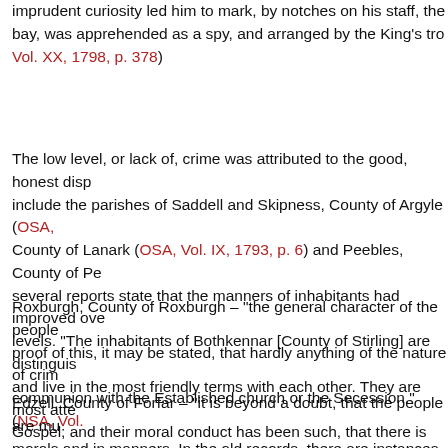imprudent curiosity led him to mark, by notches on his staff, the bay, was apprehended as a spy, and arranged by the King's tro Vol. XX, 1798, p. 378)
The low level, or lack of, crime was attributed to the good, honest disp include the parishes of Saddell and Skipness, County of Argyle (OSA, County of Lanark (OSA, Vol. IX, 1793, p. 6) and Peebles, County of Pe several reports state that the manners of inhabitants had improved ove levels. "The inhabitants of Bothkennar [County of Stirling] are distinguis and live in the most friendly terms with each other. They are most atte Gospel; and their moral conduct has been such, that there is not an ins having been arraigned or punished for any offence against the laws o Here are some more examples:
Roxburgh, County of Roxburgh – "the general character of the people proof of this, it may be stated, that hardly anything of the nature of crim communion with the Established church or the Secession." (NSA, Vol.
Edzell, County of Forfar – "it is beyond a doubt, that the people are mu morals and in manners. In the old records, there are instances of perso nets on the Sabbath; and farmers, with their wives and servants, conv